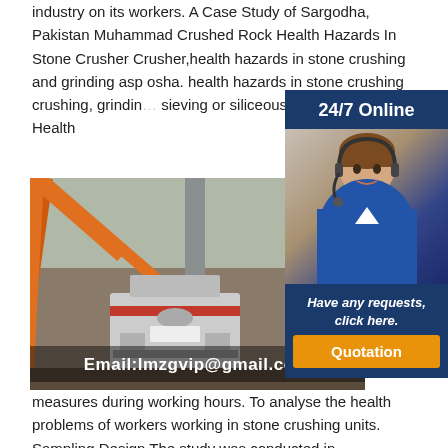industry on its workers. A Case Study of Sargodha, Pakistan Muhammad Crushed Rock Health Hazards In Stone Crusher Crusher,health hazards in stone crushing and grinding asp osha. health hazards in stone crushing crushing, grinding sieving or siliceous stone or rock Health
[Figure (photo): Industrial stone crusher machinery in a facility with orange crane arm, grey pipes, and heavy equipment. Email:lmzgvip@gmail.com label overlaid.]
[Figure (infographic): 24/7 Online chat support advertisement with woman wearing headset. Have any requests, click here. Quotation button.]
working hours. To analyse the health problems of workers working in stone crushing units. Sampling Design The study was conducted in Rajapalayam Taluk of Virudhunagar District. Totally 11stone crushers are functioning in the study area.Ball Mills Health Hazards In Stone Crusher Crusher Mills,Health Problems Associated With